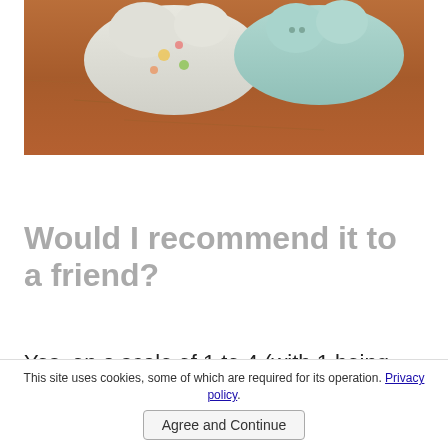[Figure (photo): Photo of two stuffed animals / baby items on a wooden surface. One has a cartoon print pattern, the other is light blue/mint colored.]
Would I recommend it to a friend?
Yes, on a scale of 1 to 4 (with 1 being never, and 4 being absolutely!), I give the SoftBums
This site uses cookies, some of which are required for its operation. Privacy policy.
Agree and Continue